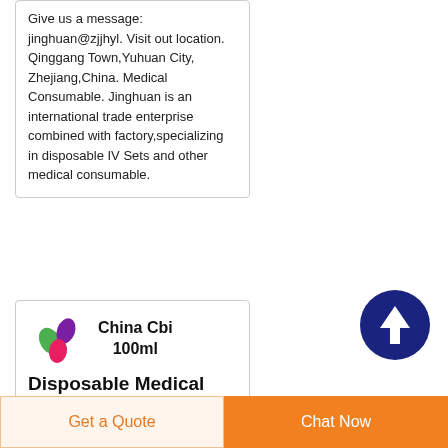Give us a message: jinghuan@zjjhyl. Visit out location. Qinggang Town,Yuhuan City, Zhejiang,China. Medical Consumable. Jinghuan is an international trade enterprise combined with factory,specializing in disposable IV Sets and other medical consumable.
[Figure (other): Dark navy circular button with upward arrow icon (scroll to top button)]
[Figure (logo): Colorful abstract logo with green, purple, and pink teardrop shapes]
China Cbi 100ml
Disposable Medical Elastomeric Infusion
Get a Quote
Chat Now